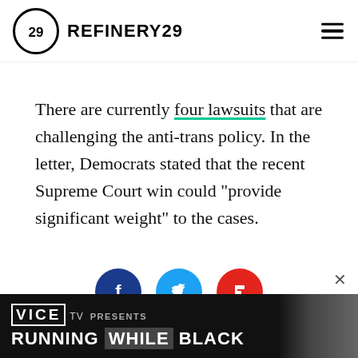REFINERY29
There are currently four lawsuits that are challenging the anti-trans policy. In the letter, Democrats stated that the recent Supreme Court win could “provide significant weight” to the cases.
[Figure (other): Row of three social sharing buttons: Facebook (blue circle with f), Twitter (light blue circle with bird), Flipboard (red circle with f)]
[Figure (other): VICE TV advertisement banner: VICE TV PRESENTS RUNNING WHILE BLACK with photo of person]